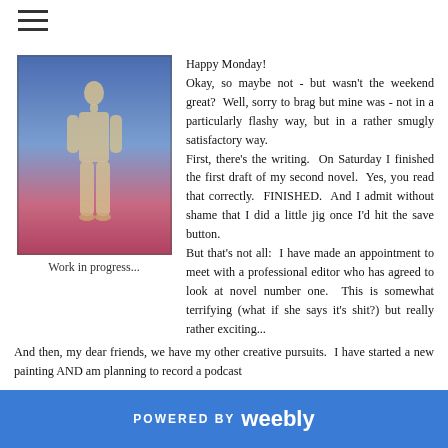≡
[Figure (illustration): A painting in progress showing a human figure standing against a blue-to-pink gradient background]
Work in progress...
Happy Monday!
Okay, so maybe not - but wasn't the weekend great?  Well, sorry to brag but mine was - not in a particularly flashy way, but in a rather smugly satisfactory way.
First, there's the writing.  On Saturday I finished the first draft of my second novel.  Yes, you read that correctly.  FINISHED.  And I admit without shame that I did a little jig once I'd hit the save button.
But that's not all:  I have made an appointment to meet with a professional editor who has agreed to look at novel number one.  This is somewhat terrifying (what if she says it's shit?) but really rather exciting...
And then, my dear friends, we have my other creative pursuits.  I have started a new painting AND am planning to record a podcast
POWERED BY weebly